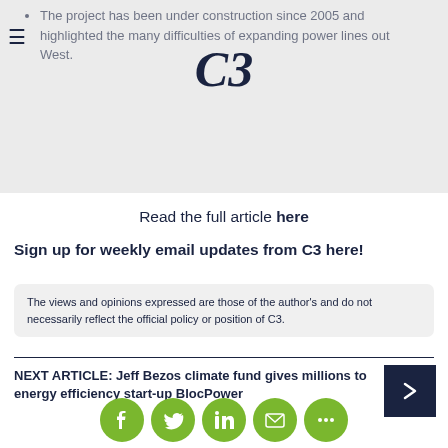C3
The project has been under construction since 2005 and highlighted the many difficulties of expanding power lines out West.
Read the full article here
Sign up for weekly email updates from C3 here!
The views and opinions expressed are those of the author's and do not necessarily reflect the official policy or position of C3.
NEXT ARTICLE: Jeff Bezos climate fund gives millions to energy efficiency start-up BlocPower
[Figure (other): Social media share buttons: Facebook, Twitter, LinkedIn, Email, More]